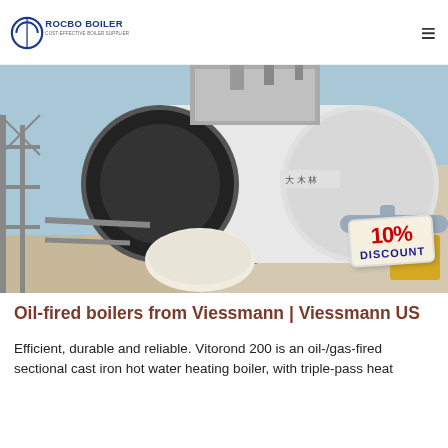ROCBO BOILER — COST-EFFECTIVE BOILER SUPPLIER
[Figure (photo): Industrial oil-fired boiler on an outdoor installation site with scaffolding, piping, and a 10% DISCOUNT badge overlaid on the image.]
Oil-fired boilers from Viessmann | Viessmann US
Efficient, durable and reliable. Vitorond 200 is an oil-/gas-fired sectional cast iron hot water heating boiler, with triple-pass heat